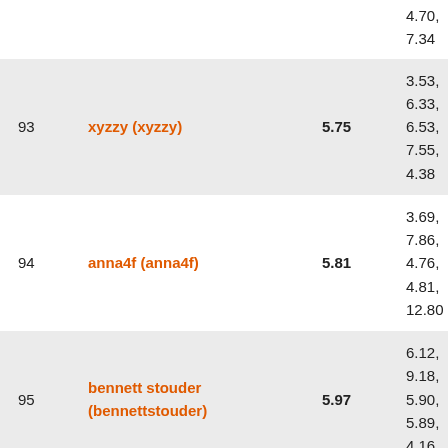| Rank | Name | Avg | Scores |
| --- | --- | --- | --- |
|  |  |  | 4.70,
7.34 |
| 93 | xyzzy (xyzzy) | 5.75 | 3.53,
6.33,
6.53,
7.55,
4.38 |
| 94 | anna4f (anna4f) | 5.81 | 3.69,
7.86,
4.76,
4.81,
12.80 |
| 95 | bennett stouder (bennettstouder) | 5.97 | 6.12,
9.18,
5.90,
5.89,
4.16 |
| 96 | Franklin Pham (wearephamily1719) | 6.02 | 4.90,
11.61,
2.86,
9.48, |